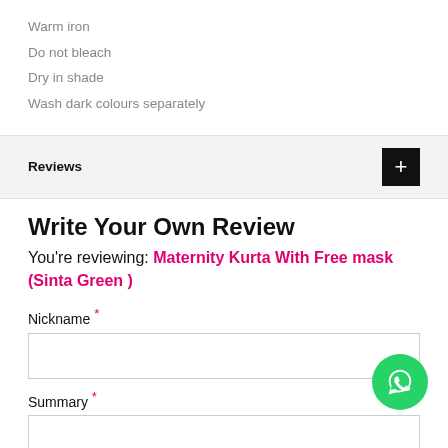Warm iron
Do not bleach
Dry in shade
Wash dark colours separately
Reviews
Write Your Own Review
You're reviewing: Maternity Kurta With Free mask (Sinta Green )
Nickname *
Summary *
[Figure (other): WhatsApp contact button (green circle with phone handset icon)]